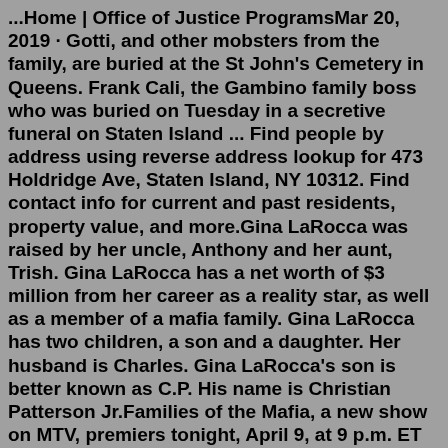...Home | Office of Justice ProgramsMar 20, 2019 · Gotti, and other mobsters from the family, are buried at the St John's Cemetery in Queens. Frank Cali, the Gambino family boss who was buried on Tuesday in a secretive funeral on Staten Island ... Find people by address using reverse address lookup for 473 Holdridge Ave, Staten Island, NY 10312. Find contact info for current and past residents, property value, and more.Gina LaRocca was raised by her uncle, Anthony and her aunt, Trish. Gina LaRocca has a net worth of $3 million from her career as a reality star, as well as a member of a mafia family. Gina LaRocca has two children, a son and a daughter. Her husband is Charles. Gina LaRocca's son is better known as C.P. His name is Christian Patterson Jr.Families of the Mafia, a new show on MTV, premiers tonight, April 9, at 9 p.m. ET on MTV.Families of the Mafia is also available to live stream on fuboTV (7-day free trial) and Sling.NEW YORK, NY (March 25, 2010) - Attorney General Andrew M. Cuomo today announced the guilty pleas of reputed members of the